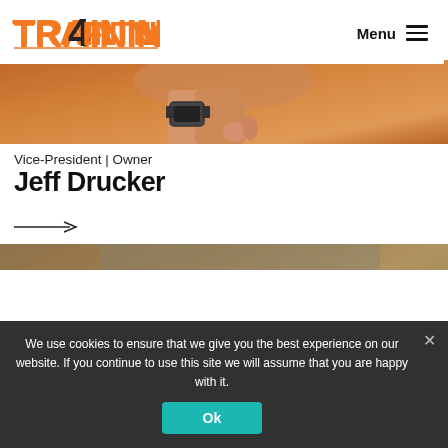Training4Fitness — Menu
[Figure (photo): Partial photo strip showing bottom of a person with a watch/bracelet visible, orange/brown background gym setting]
Vice-President | Owner
Jeff Drucker
[Figure (photo): Photo of Jeff Drucker, a man with dark hair in a gym setting with equipment visible in background]
We use cookies to ensure that we give you the best experience on our website. If you continue to use this site we will assume that you are happy with it.